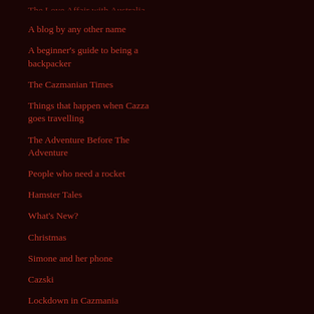The Love Affair with Australia
A blog by any other name
A beginner's guide to being a backpacker
The Cazmanian Times
Things that happen when Cazza goes travelling
The Adventure Before The Adventure
People who need a rocket
Hamster Tales
What's New?
Christmas
Simone and her phone
Cazski
Lockdown in Cazmania